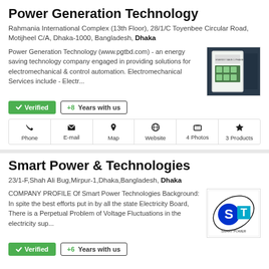Power Generation Technology
Rahmania International Complex (13th Floor), 28/1/C Toyenbee Circular Road, Motijheel C/A, Dhaka-1000, Bangladesh, Dhaka
Power Generation Technology (www.pgtbd.com) - an energy saving technology company engaged in providing solutions for electromechanical & control automation. Electromechanical Services include - Electr...
[Figure (photo): Green electrical control panel device]
Verified  +8 Years with us
Phone  E-mail  Map  Website  4 Photos  3 Products
Smart Power & Technologies
23/1-F,Shah Ali Bug,Mirpur-1,Dhaka,Bangladesh, Dhaka
COMPANY PROFILE Of Smart Power Technologies Background: In spite the best efforts put in by all the state Electricity Board, There is a Perpetual Problem of Voltage Fluctuations in the electricity sup...
[Figure (logo): Smart Power & Technologies logo with S and T letters]
Verified  +6 Years with us